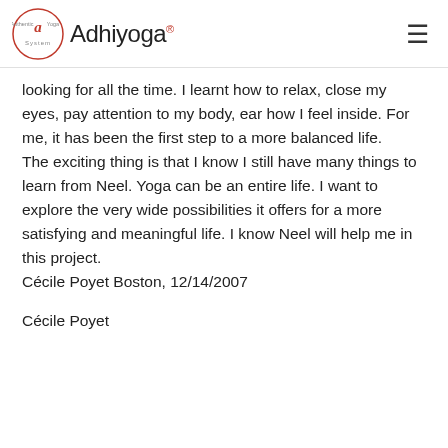Adhiyoga®
looking for all the time. I learnt how to relax, close my eyes, pay attention to my body, ear how I feel inside. For me, it has been the first step to a more balanced life.
The exciting thing is that I know I still have many things to learn from Neel. Yoga can be an entire life. I want to explore the very wide possibilities it offers for a more satisfying and meaningful life. I know Neel will help me in this project.
Cécile Poyet Boston, 12/14/2007
Cécile Poyet